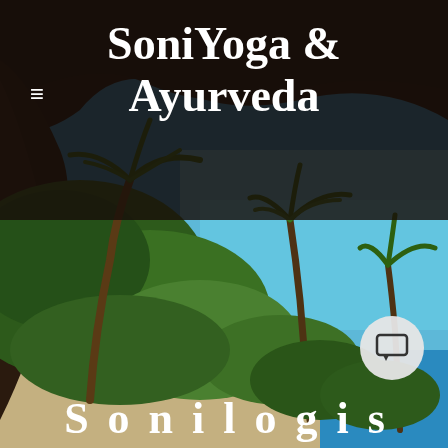[Figure (photo): Tropical beach scene viewed from a dark cave/rock overhang, showing palm trees leaning over a bright turquoise/blue ocean with a sandy beach]
SoniYoga & Ayurveda
≡ (hamburger menu icon)
[Figure (other): Chat/message button icon — circular grey button with a speech bubble/chat icon]
Scroll text partially visible at bottom (white bold letters)